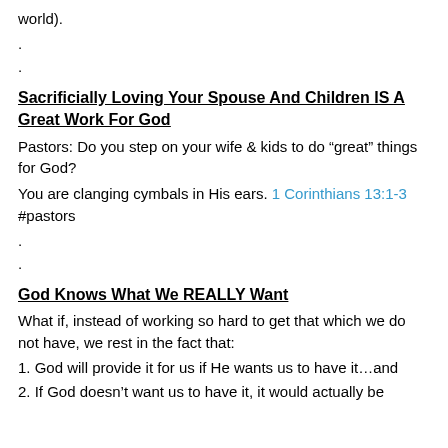world).
.
.
Sacrificially Loving Your Spouse And Children IS A Great Work For God
Pastors: Do you step on your wife & kids to do “great” things for God?
You are clanging cymbals in His ears. 1 Corinthians 13:1-3 #pastors
.
.
God Knows What We REALLY Want
What if, instead of working so hard to get that which we do not have, we rest in the fact that:
1. God will provide it for us if He wants us to have it…and
2. If God doesn’t want us to have it, it would actually be